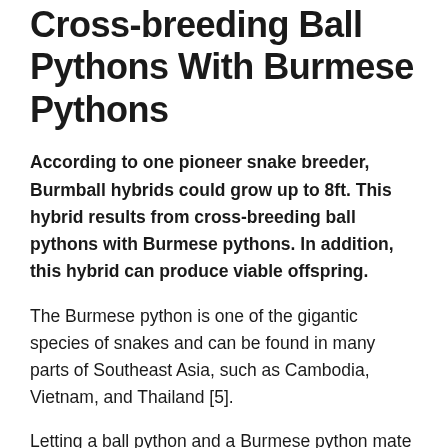Cross-breeding Ball Pythons With Burmese Pythons
According to one pioneer snake breeder, Burmball hybrids could grow up to 8ft. This hybrid results from cross-breeding ball pythons with Burmese pythons. In addition, this hybrid can produce viable offspring.
The Burmese python is one of the gigantic species of snakes and can be found in many parts of Southeast Asia, such as Cambodia, Vietnam, and Thailand [5].
Letting a ball python and a Burmese python mate